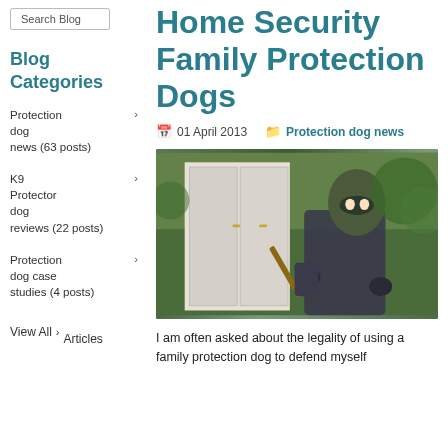Search Blog
Blog Categories
Protection dog news (63 posts)
K9 Protector dog reviews (22 posts)
Protection dog case studies (4 posts)
View All Articles
Home Security Family Protection Dogs
01 April 2013
Protection dog news
[Figure (photo): A masked burglar in a balaclava breaking into a house door with a crowbar]
I am often asked about the legality of using a family protection dog to defend myself